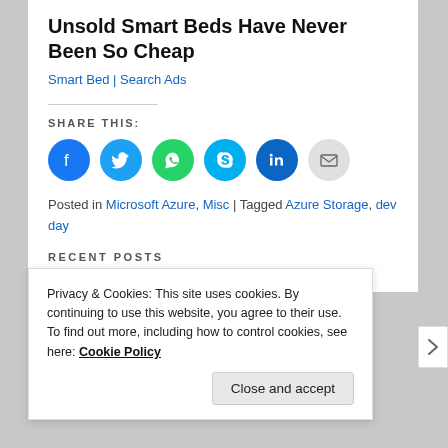Unsold Smart Beds Have Never Been So Cheap
Smart Bed | Search Ads
SHARE THIS:
[Figure (other): Social share icons: Facebook, Twitter, WhatsApp, Skype, LinkedIn, Email]
Posted in Microsoft Azure, Misc | Tagged Azure Storage, dev day
RECENT POSTS
How the different DNAs of Amazon, Microsoft and
Privacy & Cookies: This site uses cookies. By continuing to use this website, you agree to their use.
To find out more, including how to control cookies, see here: Cookie Policy
Close and accept